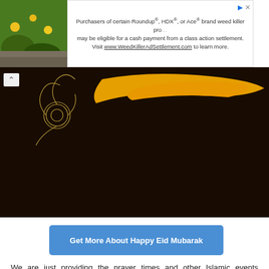[Figure (photo): Green plant with yellow flowers against stone background, used as ad photo thumbnail]
Purchasers of certain Roundup®, HDX®, or Ace® brand weed killer products may be eligible for a cash payment from a class action settlement. Visit www.WeedKillerAdSettlement.com to learn more.
[Figure (photo): Hero banner image with dark brown/black background and golden yellow decorative brushstroke element with ornate scroll design on left side]
Get More About Happy Eid Mubarak
We are just providing the prayer times and other Islamic events information along with other topics on this website. If you find or feel any kind of mistake in